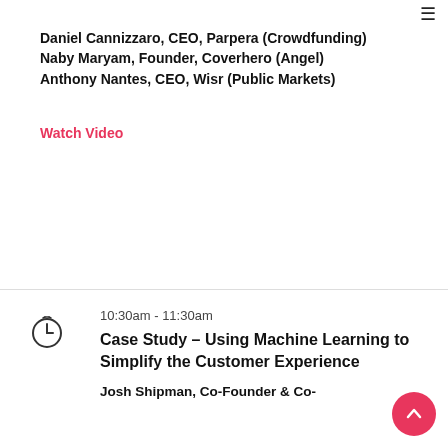Daniel Cannizzaro, CEO, Parpera (Crowdfunding)
Naby Maryam, Founder, Coverhero (Angel)
Anthony Nantes, CEO, Wisr (Public Markets)
Watch Video
10:30am - 11:30am
Case Study – Using Machine Learning to Simplify the Customer Experience
Josh Shipman, Co-Founder & Co-